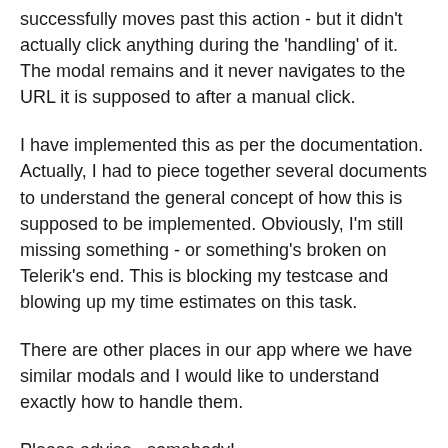successfully moves past this action - but it didn't actually click anything during the 'handling' of it. The modal remains and it never navigates to the URL it is supposed to after a manual click.
I have implemented this as per the documentation. Actually, I had to piece together several documents to understand the general concept of how this is supposed to be implemented. Obviously, I'm still missing something - or something's broken on Telerik's end. This is blocking my testcase and blowing up my time estimates on this task.
There are other places in our app where we have similar modals and I would like to understand exactly how to handle them.
Please advise...somebody!